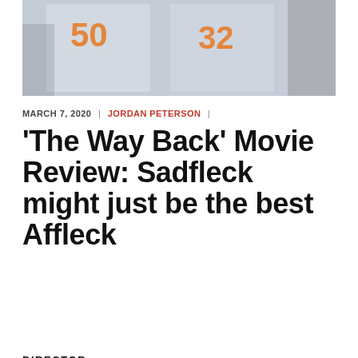[Figure (photo): Basketball team huddle photo showing players with jerseys numbered 50 and 32 in orange on white uniforms]
MARCH 7, 2020 | JORDAN PETERSON |
'The Way Back' Movie Review: Sadfleck might just be the best Affleck
[Figure (photo): Movie promotional banner for 'The Way Back' starring Ben Affleck. Text reads: BEN AFFLECK / THE WAY BACK / ONE SHOT FOR A SECOND CHANCE. / NOW PLAYING ONLY IN THEATERS. Shows Ben Affleck's face in profile on the right side against a dark golden background.]
DIRECTOR